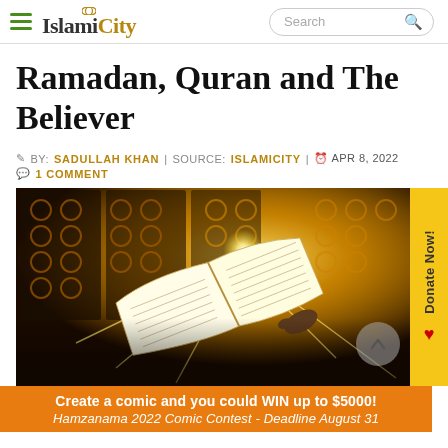IslamiCity — Search
Ramadan, Quran and The Believer
BY: SADULLAH KHAN   SOURCE: ISLAMICITY   APR 8, 2022   1 COMMENT
[Figure (photo): A person holding an open Quran in a mosque with ornate lattice windows glowing with golden sunlight streaming through.]
Create a comic and you could WIN up to $5000! Hamzanama 2022 Comic Contest - Deadline August 31